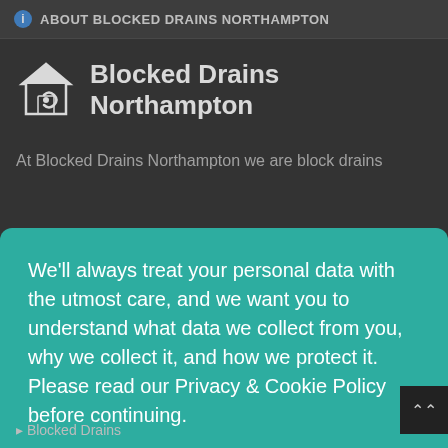ℹ ABOUT BLOCKED DRAINS NORTHAMPTON
[Figure (logo): Blocked Drains Northampton logo — white house/drain icon with company name]
At Blocked Drains Northampton we are block drains
We'll always treat your personal data with the utmost care, and we want you to understand what data we collect from you, why we collect it, and how we protect it. Please read our Privacy & Cookie Policy before continuing.
Read Our Privacy and Cookie Policy
Decline
Accept
▸ Blocked Drains